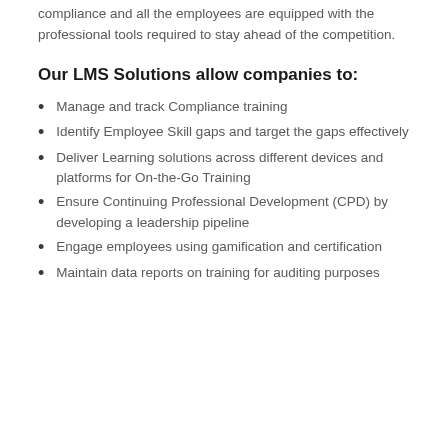compliance and all the employees are equipped with the professional tools required to stay ahead of the competition.
Our LMS Solutions allow companies to:
Manage and track Compliance training
Identify Employee Skill gaps and target the gaps effectively
Deliver Learning solutions across different devices and platforms for On-the-Go Training
Ensure Continuing Professional Development (CPD) by developing a leadership pipeline
Engage employees using gamification and certification
Maintain data reports on training for auditing purposes